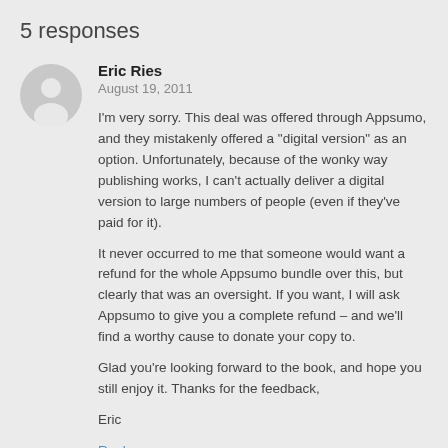5 responses
Eric Ries
August 19, 2011
I'm very sorry. This deal was offered through Appsumo, and they mistakenly offered a "digital version" as an option. Unfortunately, because of the wonky way publishing works, I can't actually deliver a digital version to large numbers of people (even if they've paid for it).

It never occurred to me that someone would want a refund for the whole Appsumo bundle over this, but clearly that was an oversight. If you want, I will ask Appsumo to give you a complete refund – and we'll find a worthy cause to donate your copy to.

Glad you're looking forward to the book, and hope you still enjoy it. Thanks for the feedback,

Eric
Reply